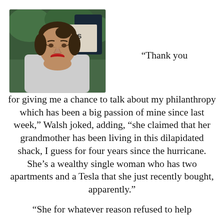[Figure (photo): Woman with red lipstick and hair pulled back, wearing a white blazer, outdoors with greenery and a sign partially visible in background reading 'AKES']
“Thank you for giving me a chance to talk about my philanthropy which has been a big passion of mine since last week,” Walsh joked, adding, “she claimed that her grandmother has been living in this dilapidated shack, I guess for four years since the hurricane. She’s a wealthy single woman who has two apartments and a Tesla that she just recently bought, apparently.”
“She for whatever reason refused to help